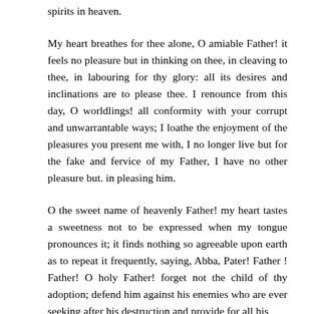spirits in heaven.
My heart breathes for thee alone, O amiable Father! it feels no pleasure but in thinking on thee, in cleaving to thee, in labouring for thy glory: all its desires and inclinations are to please thee. I renounce from this day, O worldlings! all conformity with your corrupt and unwarrantable ways; I loathe the enjoyment of the pleasures you present me with, I no longer live but for the fake and fervice of my Father, I have no other pleasure but. in pleasing him.
O the sweet name of heavenly Father! my heart tastes a sweetness not to be expressed when my tongue pronounces it; it finds nothing so agreeable upon earth as to repeat it frequently, saying, Abba, Pater! Father ! Father! O holy Father! forget not the child of thy adoption; defend him against his enemies who are ever seeking after his destruction and provide for all his